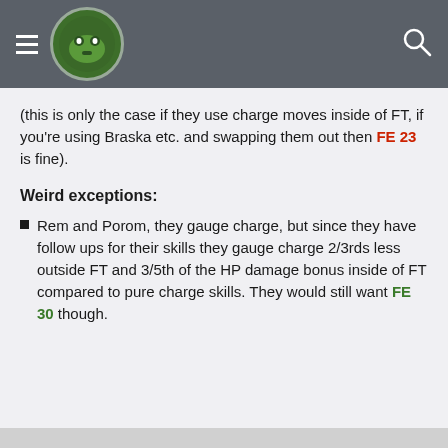Header with logo and navigation
(this is only the case if they use charge moves inside of FT, if you're using Braska etc. and swapping them out then FE 23 is fine).
Weird exceptions:
Rem and Porom, they gauge charge, but since they have follow ups for their skills they gauge charge 2/3rds less outside FT and 3/5th of the HP damage bonus inside of FT compared to pure charge skills. They would still want FE 30 though.